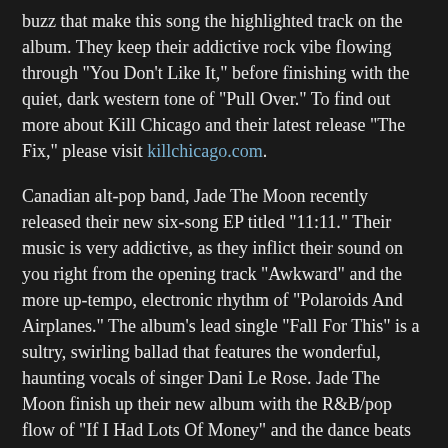buzz that make this song the highlighted track on the album. They keep their addictive rock vibe flowing through "You Don't Like It," before finishing with the quiet, dark western tone of "Pull Over." To find out more about Kill Chicago and their latest release "The Fix," please visit killchicago.com.
Canadian alt-pop band, Jade The Moon recently released their new six-song EP titled "11:11." Their music is very addictive, as they inflict their sound on you right from the opening track "Awkward" and the more up-tempo, electronic rhythm of "Polaroids And Airplanes." The album's lead single "Fall For This" is a sultry, swirling ballad that features the wonderful, haunting vocals of singer Dani Le Rose. Jade The Moon finish up their new album with the R&B/pop flow of "If I Had Lots Of Money" and the dance beats of "Don't Wait Up." To find out more about Jade The Moon and their latest release "11:11," please visit jadethemoon.com.
Up-and-coming pop artist Lia recently released a brand new six-song EP titled "Vasilia." The electronic beats and subtle touches of music are the perfect backdrop for her strong, stellar vocals, as in the songs "Out Of Control" and "To The Woods." She demands the